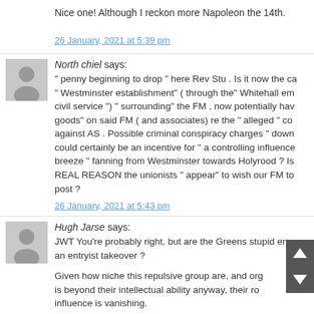Nice one! Although I reckon more Napoleon the 14th.
26 January, 2021 at 5:39 pm
[Figure (illustration): Grey avatar placeholder for North chiel]
North chiel says:
" penny beginning to drop " here Rev Stu . Is it now the ca" Westminster establishment" ( through the" Whitehall em civil service ") " surrounding" the FM , now potentially hav goods" on said FM ( and associates) re the " alleged " co against AS . Possible criminal conspiracy charges " down could certainly be an incentive for " a controlling influenc breeze " fanning from Westminster towards Holyrood ? Is REAL REASON the unionists " appear" to wish our FM to post ?
26 January, 2021 at 5:43 pm
[Figure (illustration): Grey avatar placeholder for Hugh Jarse]
Hugh Jarse says:
JWT You're probably right, but are the Greens stupid eno an entryist takeover ?
Given how niche this repulsive group are, and org is beyond their intellectual ability anyway, their ro influence is vanishing.